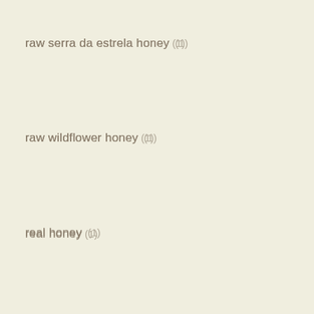raw serra da estrela honey (1)
raw wildflower honey (1)
real honey (1)
rhinitis (1)
strawberry tree (1)
supermarket honey (1)
virus (1)
wellness (1)